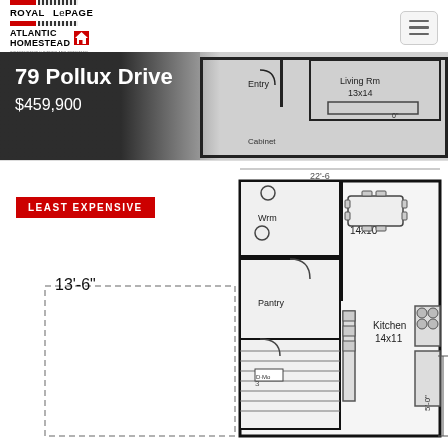[Figure (logo): Royal LePage Atlantic Homestead logo with red bars and house icon]
79 Pollux Drive
$459,900
[Figure (schematic): House floor plan showing Entry, Living Rm 13x14, Dining 14x10, Kitchen 14x11, Pantry, Wrm rooms with dimensions 13'-6" and 5'-0"]
LEAST EXPENSIVE
13'-6"